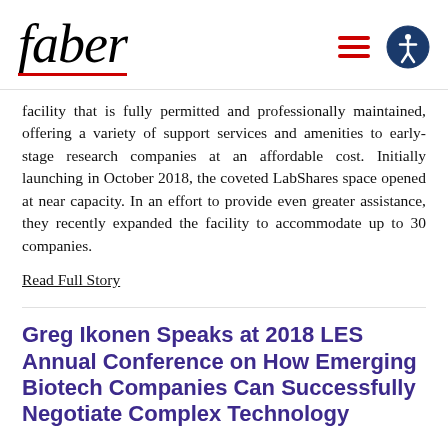faber
facility that is fully permitted and professionally maintained, offering a variety of support services and amenities to early-stage research companies at an affordable cost. Initially launching in October 2018, the coveted LabShares space opened at near capacity. In an effort to provide even greater assistance, they recently expanded the facility to accommodate up to 30 companies.
Read Full Story
Greg Ikonen Speaks at 2018 LES Annual Conference on How Emerging Biotech Companies Can Successfully Negotiate Complex Technology